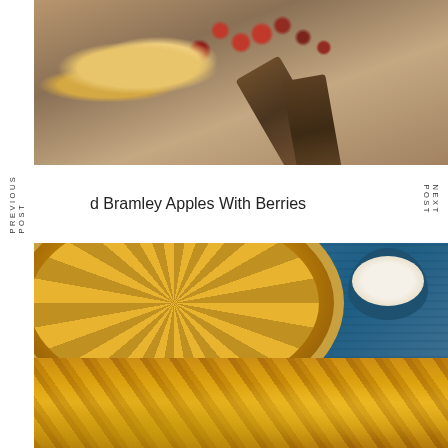[Figure (photo): Top-down food photo of baked Bramley apples with berries (cranberries, blackcurrants) in a light blue baking dish with wooden spoon, scattered granola or crumble]
PREVIOUS POST
d Bramley Apples With Berries
NEXT POST
[Figure (photo): Food photo of an apple tart/galette in a round white dish with caramelized apple slices arranged in a spiral pattern, served on a blue cloth with a bowl of cream/whipped cream in the background]
[Figure (photo): Close-up food photo of caramelized apple tart with sliced apples arranged in overlapping pattern, golden brown with sugar glaze, with a fork visible on the right side]